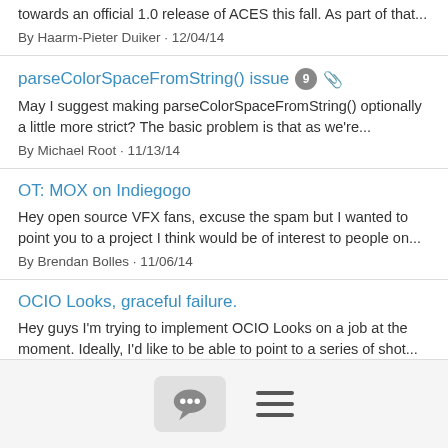towards an official 1.0 release of ACES this fall. As part of that...
By Haarm-Pieter Duiker · 12/04/14
parseColorSpaceFromString() issue
May I suggest making parseColorSpaceFromString() optionally a little more strict? The basic problem is that as we're...
By Michael Root · 11/13/14
OT: MOX on Indiegogo
Hey open source VFX fans, excuse the spam but I wanted to point you to a project I think would be of interest to people on...
By Brendan Bolles · 11/06/14
OCIO Looks, graceful failure.
Hey guys I'm trying to implement OCIO Looks on a job at the moment. Ideally, I'd like to be able to point to a series of shot...
By Alex Fry · 11/02/14
OCIO default config when using CreateFromEnv
Hi, I have an issue when trying to create a config from the